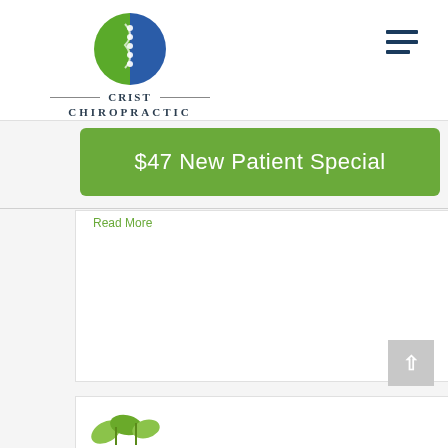[Figure (logo): Crist Chiropractic circular logo with green and blue halves and a spine graphic]
CRIST CHIROPRACTIC
[Figure (other): Hamburger menu icon with three horizontal dark blue bars]
$47 New Patient Special
Read More
[Figure (illustration): Partial illustration of a green plant or small figures at bottom of page]